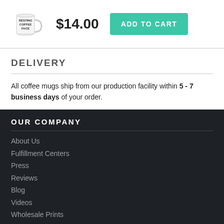[Figure (photo): White coffee mug with text 'RESTING COFFEE FACE' printed on it]
$14.00
ADD TO CART
DELIVERY
All coffee mugs ship from our production facility within 5 - 7 business days of your order.
OUR COMPANY
About Us
Fulfillment Centers
Press
Reviews
Blog
Videos
Wholesale Prints
Gig Posters